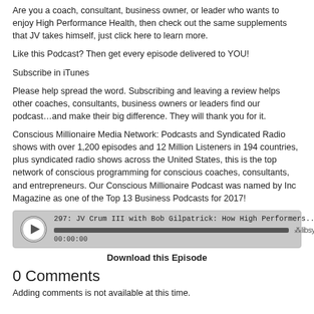Are you a coach, consultant, business owner, or leader who wants to enjoy High Performance Health, then check out the same supplements that JV takes himself, just click here to learn more.
Like this Podcast? Then get every episode delivered to YOU!
Subscribe in iTunes
Please help spread the word. Subscribing and leaving a review helps other coaches, consultants, business owners or leaders find our podcast…and make their big difference. They will thank you for it.
Conscious Millionaire Media Network: Podcasts and Syndicated Radio shows with over 1,200 episodes and 12 Million Listeners in 194 countries, plus syndicated radio shows across the United States, this is the top network of conscious programming for conscious coaches, consultants, and entrepreneurs. Our Conscious Millionaire Podcast was named by Inc Magazine as one of the Top 13 Business Podcasts for 2017!
[Figure (other): Audio player widget showing episode 297: JV Crum III with Bob Gilpatrick: How High Performers... with a progress bar and 00:00:00 timestamp, Libsyn branding]
Download this Episode
0 Comments
Adding comments is not available at this time.